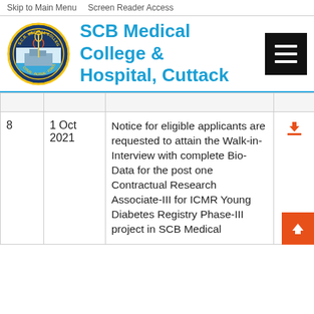Skip to Main Menu   Screen Reader Access
SCB Medical College & Hospital, Cuttack
|  |  |  |  |
| --- | --- | --- | --- |
| 8 | 1 Oct 2021 | Notice for eligible applicants are requested to attain the Walk-in-Interview with complete Bio-Data for the post one Contractual Research Associate-III for ICMR Young Diabetes Registry Phase-III project in SCB Medical | ↓ |